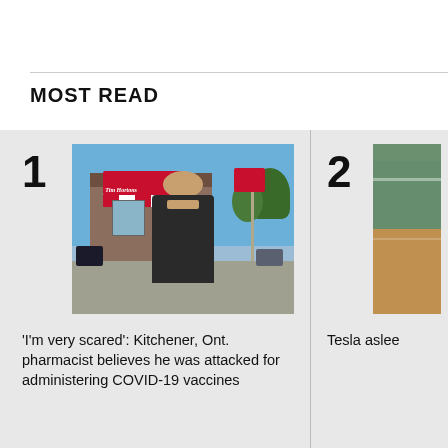MOST READ
[Figure (photo): A man in a dark jacket standing in front of a Tim Hortons restaurant on a sunny day]
'I'm very scared': Kitchener, Ont. pharmacist believes he was attacked for administering COVID-19 vaccines
[Figure (photo): Partial view of a car interior/exterior, cropped]
Tesla aslee